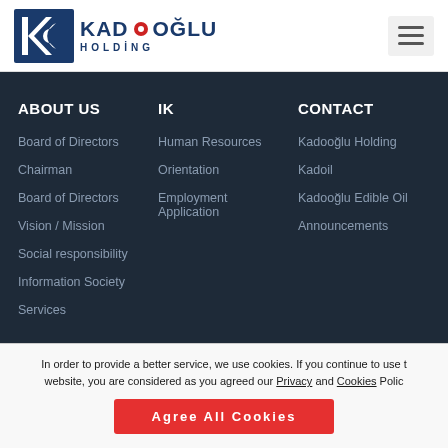[Figure (logo): Kadooğlu Holding logo with blue K-C icon and red dot, company name in dark blue bold text]
ABOUT US
IK
CONTACT
Board of Directors
Chairman
Board of Directors
Vision / Mission
Social responsibility
Information Society
Services
Human Resources
Orientation
Employment Application
Kadooğlu Holding
Kadoil
Kadooğlu Edible Oil
Announcements
In order to provide a better service, we use cookies. If you continue to use the website, you are considered as you agreed our Privacy and Cookies Policy.
Agree All Cookies